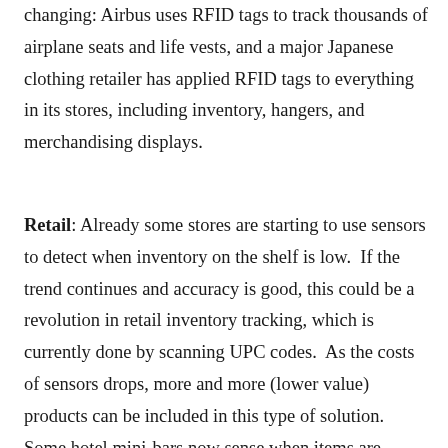changing: Airbus uses RFID tags to track thousands of airplane seats and life vests, and a major Japanese clothing retailer has applied RFID tags to everything in its stores, including inventory, hangers, and merchandising displays.
Retail: Already some stores are starting to use sensors to detect when inventory on the shelf is low. If the trend continues and accuracy is good, this could be a revolution in retail inventory tracking, which is currently done by scanning UPC codes. As the costs of sensors drops, more and more (lower value) products can be included in this type of solution. Some hotel mini-bars now sense when items are consumed,